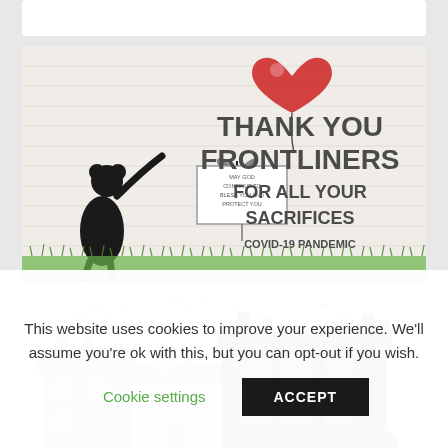[Figure (illustration): Top white card placeholder at the top of the page]
[Figure (illustration): Banksy-style illustration with a girl releasing a red heart balloon and a butterfly, with text 'THANK YOU FRONTLINERS FOR ALL YOUR SACRIFICES COVID-19 PANDEMIC' and a small sign reading 'MAY GOD CONTINUE TO BLESS YOU AND PROTECT YOU']
[Figure (illustration): Illustration of row of houses with birds flying above rooftops, partially visible at bottom]
This website uses cookies to improve your experience. We'll assume you're ok with this, but you can opt-out if you wish.
Cookie settings
ACCEPT